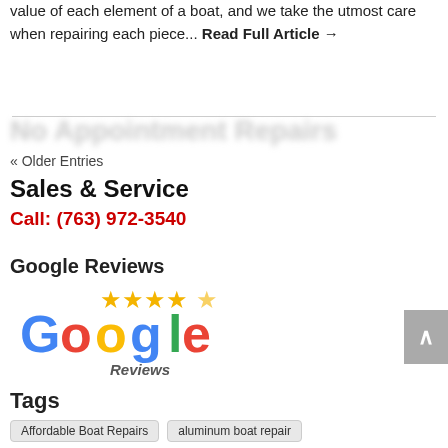value of each element of a boat, and we take the utmost care when repairing each piece... Read Full Article →
« Older Entries
Sales & Service
Call: (763) 972-3540
Google Reviews
[Figure (logo): Google Reviews logo with 4.5 star rating - Google logo in multicolor with stars above and 'Reviews' text below]
Tags
Affordable Boat Repairs
aluminum boat repair
boat body damage insurance repair
boat collision repair